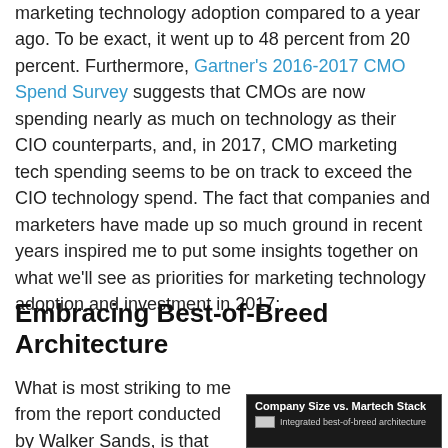marketing technology adoption compared to a year ago. To be exact, it went up to 48 percent from 20 percent. Furthermore, Gartner's 2016-2017 CMO Spend Survey suggests that CMOs are now spending nearly as much on technology as their CIO counterparts, and, in 2017, CMO marketing tech spending seems to be on track to exceed the CIO technology spend. The fact that companies and marketers have made up so much ground in recent years inspired me to put some insights together on what we'll see as priorities for marketing technology adoption and investment in 2017:
Embracing Best-of-Breed Architecture
What is most striking to me from the report conducted by Walker Sands, is that almost half of marketers (48 percent) describe their
[Figure (infographic): Dark box showing 'Company Size vs. Martech Stack' with legend entry: grey swatch labeled 'Integrated best-of-breed architecture']